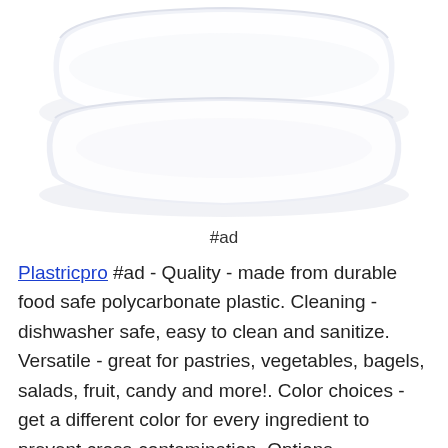[Figure (photo): Two white square-shaped bowls stacked on top of each other, viewed from a slightly elevated angle against a white background.]
#ad
Plastricpro #ad - Quality - made from durable food safe polycarbonate plastic. Cleaning - dishwasher safe, easy to clean and sanitize. Versatile - great for pastries, vegetables, bagels, salads, fruit, candy and more!. Color choices - get a different color for every ingredient to prevent cross-contamination. Options -